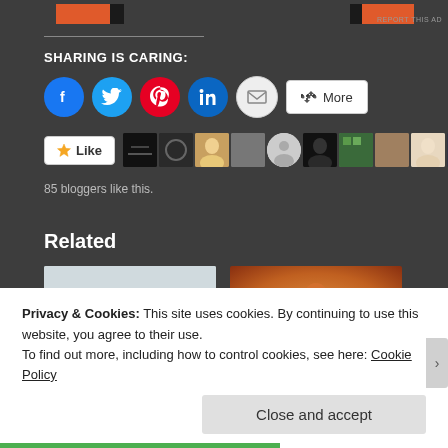[Figure (screenshot): Top ad banner with orange and black blocks on dark background with REPORT THIS AD text]
SHARING IS CARING:
[Figure (infographic): Social sharing buttons: Facebook, Twitter, Pinterest, LinkedIn, Email, More]
[Figure (infographic): Like button with blogger avatars strip showing 85 bloggers like this]
85 bloggers like this.
Related
[Figure (photo): Misty seascape with silhouettes on a pier]
[Figure (illustration): Fantasy warrior woman with red hair in fiery scene]
Privacy & Cookies: This site uses cookies. By continuing to use this website, you agree to their use.
To find out more, including how to control cookies, see here: Cookie Policy
Close and accept